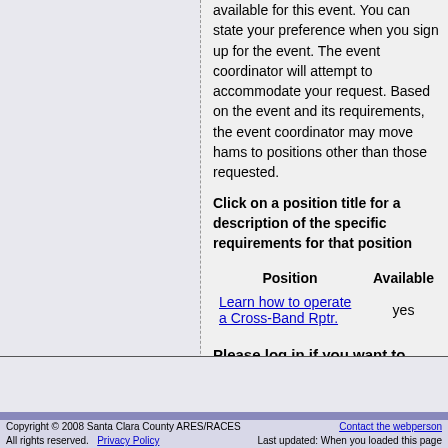available for this event. You can state your preference when you sign up for the event. The event coordinator will attempt to accommodate your request. Based on the event and its requirements, the event coordinator may move hams to positions other than those requested.
Click on a position title for a description of the specific requirements for that position
| Position | Available |
| --- | --- |
| Learn how to operate a Cross-Band Rptr. | yes |
Please log in if you want to participate in this event.
Copyright © 2008 Santa Clara County ARES/RACES All rights reserved.   Privacy Policy   Contact the webperson Last updated: When you loaded this page